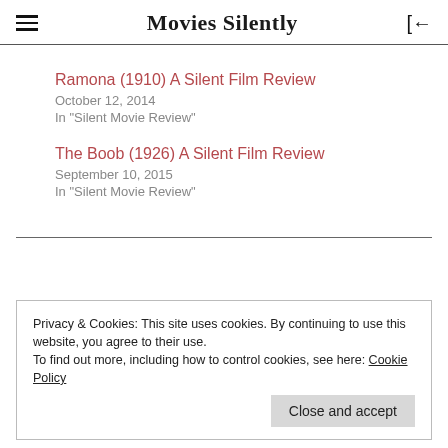Movies Silently
Ramona (1910) A Silent Film Review
October 12, 2014
In "Silent Movie Review"
The Boob (1926) A Silent Film Review
September 10, 2015
In "Silent Movie Review"
Privacy & Cookies: This site uses cookies. By continuing to use this website, you agree to their use.
To find out more, including how to control cookies, see here: Cookie Policy